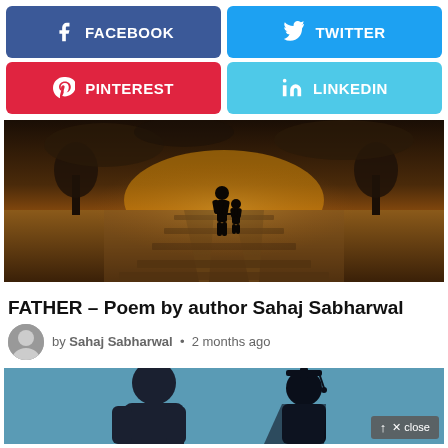[Figure (infographic): Social share buttons row: Facebook (blue) and Twitter (light blue)]
[Figure (infographic): Social share buttons row: Pinterest (red) and LinkedIn (light blue)]
[Figure (photo): Father and child silhouettes walking on railway tracks at sunset with dramatic sky and trees]
FATHER – Poem by author Sahaj Sabharwal
by Sahaj Sabharwal • 2 months ago
[Figure (illustration): Silhouette illustration of man with graduation cap (father and graduate) with close button overlay]